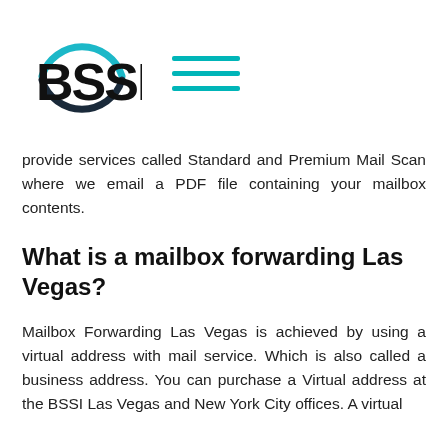[Figure (logo): BSSI logo: circle with blue/teal arc on top, dark arc on bottom, bold black letters BSSI in center, plus a hamburger menu icon (three teal horizontal lines) to the right]
provide services called Standard and Premium Mail Scan where we email a PDF file containing your mailbox contents.
What is a mailbox forwarding Las Vegas?
Mailbox Forwarding Las Vegas is achieved by using a virtual address with mail service. Which is also called a business address. You can purchase a Virtual address at the BSSI Las Vegas and New York City offices. A virtual